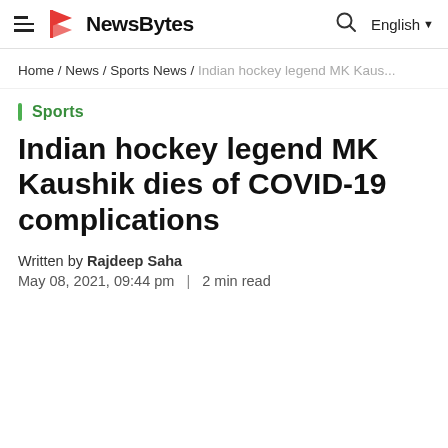NewsBytes — English
Home / News / Sports News / Indian hockey legend MK Kaus...
Sports
Indian hockey legend MK Kaushik dies of COVID-19 complications
Written by Rajdeep Saha
May 08, 2021, 09:44 pm | 2 min read